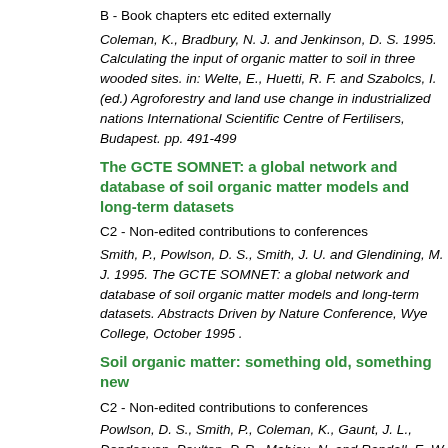B - Book chapters etc edited externally
Coleman, K., Bradbury, N. J. and Jenkinson, D. S. 1995. Calculating the input of organic matter to soil in three wooded sites. in: Welte, E., Huetti, R. F. and Szabolcs, I. (ed.) Agroforestry and land use change in industrialized nations International Scientific Centre of Fertilisers, Budapest. pp. 491-499
The GCTE SOMNET: a global network and database of soil organic matter models and long-term datasets
C2 - Non-edited contributions to conferences
Smith, P., Powlson, D. S., Smith, J. U. and Glendining, M. J. 1995. The GCTE SOMNET: a global network and database of soil organic matter models and long-term datasets. Abstracts Driven by Nature Conference, Wye College, October 1995 .
Soil organic matter: something old, something new
C2 - Non-edited contributions to conferences
Powlson, D. S., Smith, P., Coleman, K., Gaunt, J. L., Dendooven, Poulton, P. R., Mahieu, N. and Randall, E. W. 1995. Soil organic matter: something old, something new. Abstracts SCI Meeting